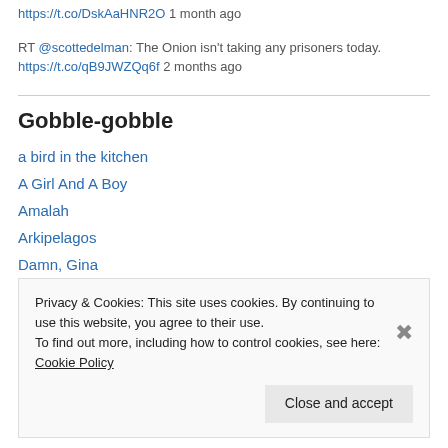https://t.co/DskAaHNR2O 1 month ago
RT @scottedelman: The Onion isn't taking any prisoners today. https://t.co/qB9JWZQq6f 2 months ago
Gobble-gobble
a bird in the kitchen
A Girl And A Boy
Amalah
Arkipelagos
Damn, Gina
Privacy & Cookies: This site uses cookies. By continuing to use this website, you agree to their use.
To find out more, including how to control cookies, see here: Cookie Policy